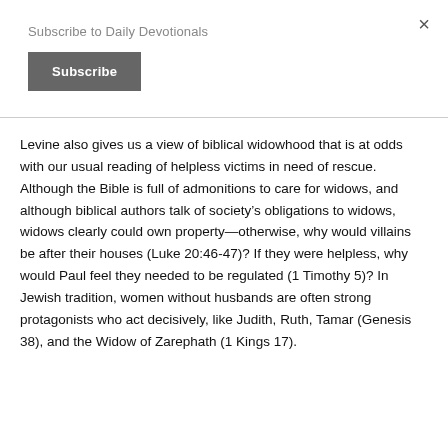Subscribe to Daily Devotionals
Subscribe
Levine also gives us a view of biblical widowhood that is at odds with our usual reading of helpless victims in need of rescue. Although the Bible is full of admonitions to care for widows, and although biblical authors talk of society’s obligations to widows, widows clearly could own property—otherwise, why would villains be after their houses (Luke 20:46-47)? If they were helpless, why would Paul feel they needed to be regulated (1 Timothy 5)? In Jewish tradition, women without husbands are often strong protagonists who act decisively, like Judith, Ruth, Tamar (Genesis 38), and the Widow of Zarephath (1 Kings 17).